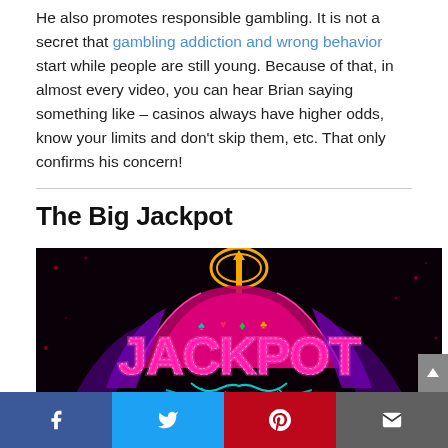He also promotes responsible gambling. It is not a secret that gambling addiction and wrong behavior start while people are still young. Because of that, in almost every video, you can hear Brian saying something like – casinos always have higher odds, know your limits and don't skip them, etc. That only confirms his concern!
The Big Jackpot
[Figure (photo): Neon casino jackpot logo on a black background with playing card suit symbols (spade, heart, diamond, club) and ornate decorative elements in pink, purple, teal, and gold colors.]